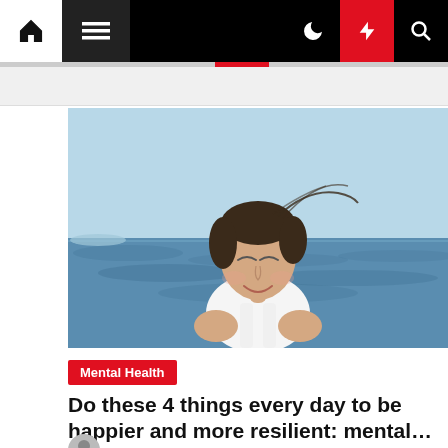Navigation bar with home, menu, dark mode, trending, and search icons
[Figure (photo): Young woman with eyes closed, smiling peacefully, wind blowing her hair, standing near the ocean with blue water in the background, wearing a white tank top]
Mental Health
Do these 4 things every day to be happier and more resilient: mental…